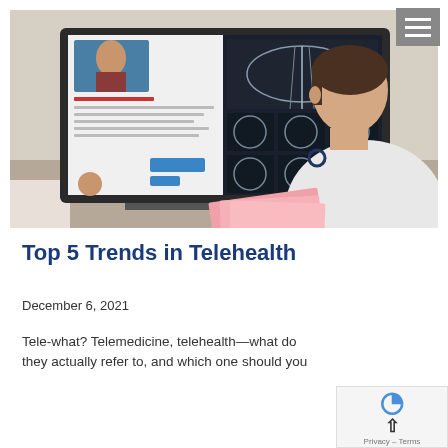[Figure (photo): A doctor in a white coat sitting at a desk viewing a computer monitor showing a telemedicine interface with a patient video call and medical imaging (chest X-rays and CT scans).]
Top 5 Trends in Telehealth
December 6, 2021
Tele-what? Telemedicine, telehealth—what do they actually refer to, and which one should you